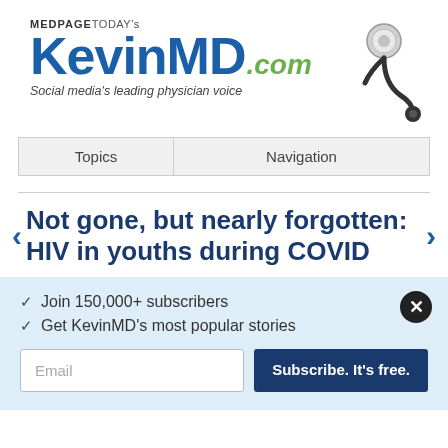[Figure (logo): MedPageToday's KevinMD.com logo with stethoscope image and tagline 'Social media's leading physician voice']
| Topics | Navigation |
| --- | --- |
Not gone, but nearly forgotten: HIV in youths during COVID
✓  Join 150,000+ subscribers
✓  Get KevinMD's most popular stories
Email  [Subscribe. It's free.]